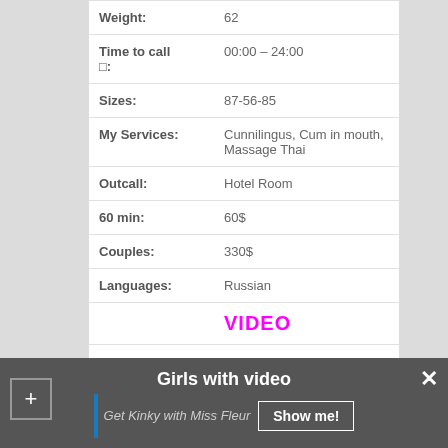| Field | Value |
| --- | --- |
| Weight: | 62 |
| Time to call □: | 00:00 – 24:00 |
| Sizes: | 87-56-85 |
| My Services: | Cunnilingus, Cum in mouth, Massage Thai |
| Outcall: | Hotel Room |
| 60 min: | 60$ |
| Couples: | 330$ |
| Languages: | Russian |
|  | VIDEO |
Girls with video
Get Kinky with Miss Fleur
Show me!